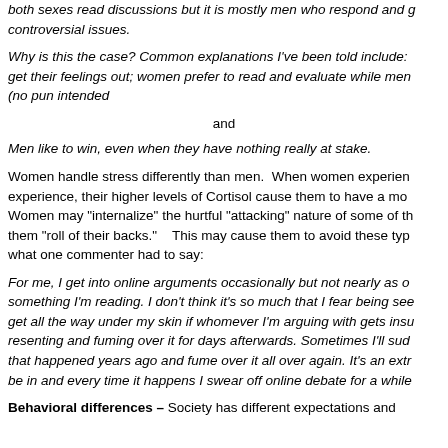both sexes read discussions but it is mostly men who respond and get into controversial issues.
Why is this the case? Common explanations I've been told include: men like to get their feelings out; women prefer to read and evaluate while men... (no pun intended
and
Men like to win, even when they have nothing really at stake.
Women handle stress differently than men. When women experience, their higher levels of Cortisol cause them to have a more... Women may "internalize" the hurtful "attacking" nature of some of th... them "roll of their backs." This may cause them to avoid these typ... what one commenter had to say:
For me, I get into online arguments occasionally but not nearly as o... something I'm reading. I don't think it's so much that I fear being see... get all the way under my skin if whomever I'm arguing with gets insu... resenting and fuming over it for days afterwards. Sometimes I'll sud... that happened years ago and fume over it all over again. It's an extr... be in and every time it happens I swear off online debate for a while...
Behavioral differences – Society has different expectations and...